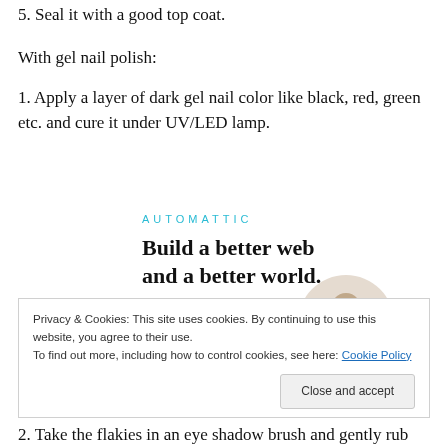5. Seal it with a good top coat.
With gel nail polish:
1. Apply a layer of dark gel nail color like black, red, green etc. and cure it under UV/LED lamp.
[Figure (screenshot): Automattic advertisement banner with bold text 'Build a better web and a better world.' and an Apply button, with a circular photo of a man.]
Privacy & Cookies: This site uses cookies. By continuing to use this website, you agree to their use.
To find out more, including how to control cookies, see here: Cookie Policy
Close and accept
2. Take the flakies in an eye shadow brush and gently rub